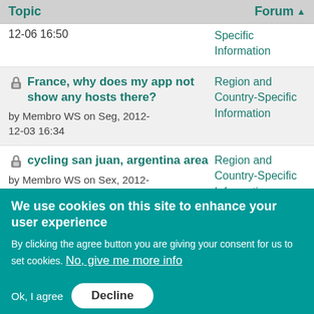| Topic | Forum |
| --- | --- |
| 12-06 16:50 | Specific Information |
| 🔒 France, why does my app not show any hosts there?
by Membro WS on Seg, 2012-12-03 16:34 | Region and Country-Specific Information |
| 🔒 cycling san juan, argentina area
by Membro WS on Sex, 2012- | Region and Country-Specific Information |
We use cookies on this site to enhance your user experience
By clicking the agree button you are giving your consent for us to set cookies. No, give me more info
Ok, I agree   Decline